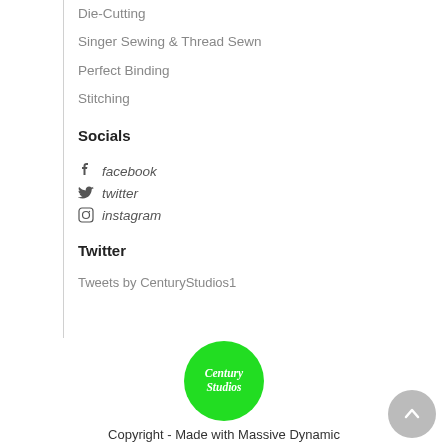Die-Cutting
Singer Sewing & Thread Sewn
Perfect Binding
Stitching
Socials
facebook
twitter
instagram
Twitter
Tweets by CenturyStudios1
[Figure (logo): Century Studios green circular logo with white italic script text]
Copyright - Made with Massive Dynamic